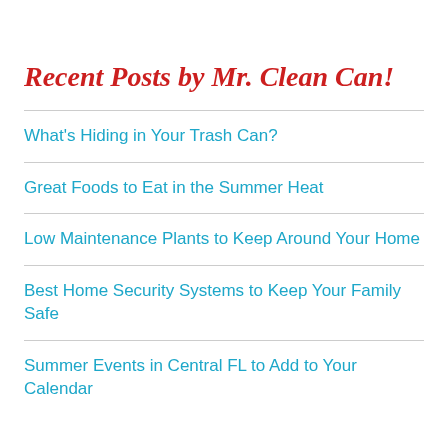Recent Posts by Mr. Clean Can!
What's Hiding in Your Trash Can?
Great Foods to Eat in the Summer Heat
Low Maintenance Plants to Keep Around Your Home
Best Home Security Systems to Keep Your Family Safe
Summer Events in Central FL to Add to Your Calendar